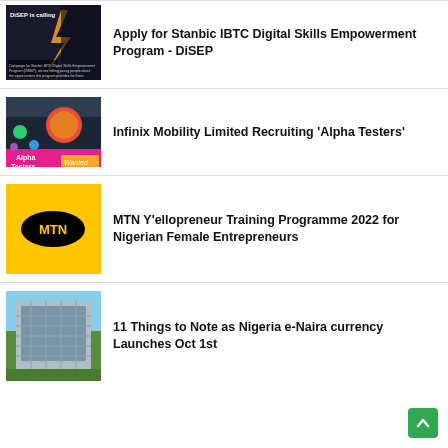[Figure (photo): DiSEP promotional banner with dark background, lightning effect and small text]
Apply for Stanbic IBTC Digital Skills Empowerment Program - DiSEP
[Figure (photo): Infinix Alpha Testers promotional image with megaphone and pink banner on dark background]
Infinix Mobility Limited Recruiting 'Alpha Testers'
[Figure (photo): MTN logo on yellow background]
MTN Y'ellopreneur Training Programme 2022 for Nigerian Female Entrepreneurs
[Figure (photo): Central Bank of Nigeria building exterior photo]
11 Things to Note as Nigeria e-Naira currency Launches Oct 1st